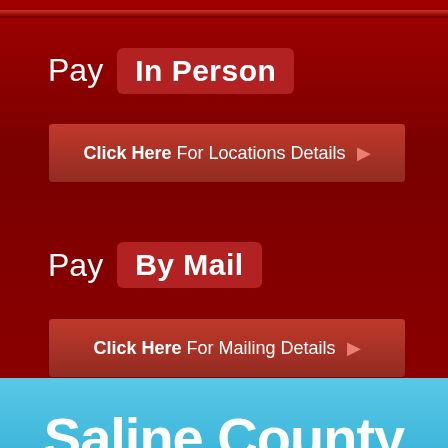Pay In Person
Click Here For Locations Details ❯
Pay By Mail
Click Here For Mailing Details ❯
Saline County